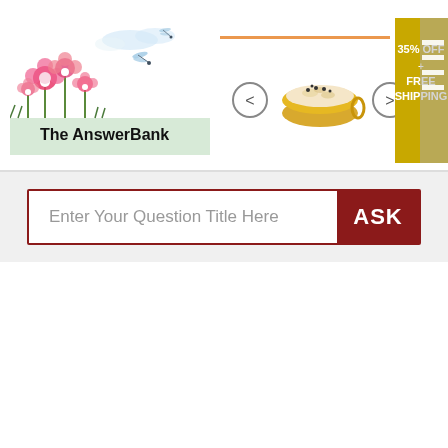[Figure (logo): The AnswerBank logo with pink flowers and dragonflies on left, text 'The AnswerBank' in black serif font]
[Figure (infographic): Advertisement banner showing a bowl of oatmeal/porridge with navigation arrows, and a gold badge reading '35% OFF + FREE SHIPPING']
Enter Your Question Title Here
ASK